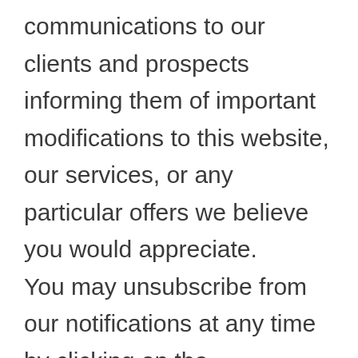communications to our clients and prospects informing them of important modifications to this website, our services, or any particular offers we believe you would appreciate.

You may unsubscribe from our notifications at any time by clicking on the unsubscribe link in any of our emails. If you opt out, we will accept your request